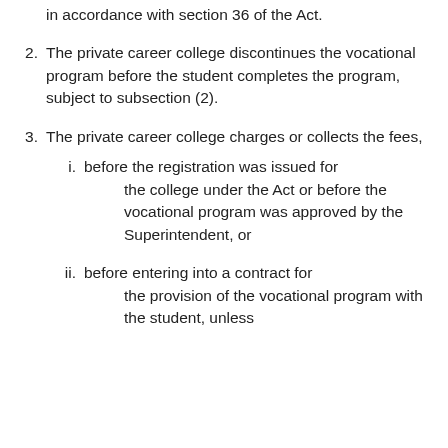in accordance with section 36 of the Act.
2. The private career college discontinues the vocational program before the student completes the program, subject to subsection (2).
3. The private career college charges or collects the fees,
i. before the registration was issued for the college under the Act or before the vocational program was approved by the Superintendent, or
ii. before entering into a contract for the provision of the vocational program with the student, unless